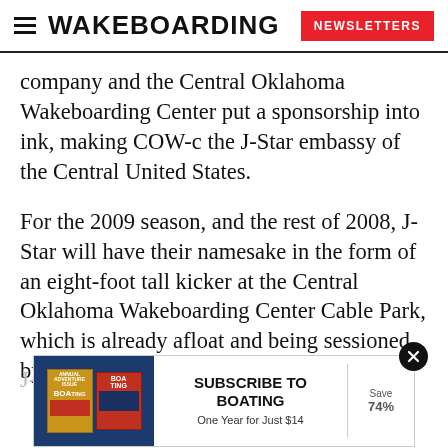WAKEBOARDING | NEWSLETTERS
company and the Central Oklahoma Wakeboarding Center put a sponsorship into ink, making COW-c the J-Star embassy of the Central United States.
For the 2009 season, and the rest of 2008, J-Star will have their namesake in the form of an eight-foot tall kicker at the Central Oklahoma Wakeboarding Center Cable Park, which is already afloat and being sessioned by riders.
[Figure (screenshot): Advertisement banner: SUBSCRIBE TO BOATING, One Year for Just $14, Save 74%, with magazine cover images on the left.]
J-Sta                                                                           ed